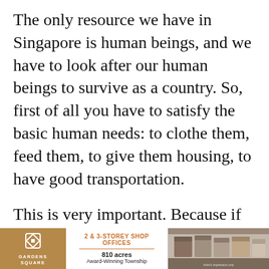The only resource we have in Singapore is human beings, and we have to look after our human beings to survive as a country. So, first of all you have to satisfy the basic human needs: to clothe them, feed them, to give them housing, to have good transportation.
This is very important. Because if you don't have a home, first of all, you cannot concentrate on your work. And second, our public housing [agency] is probably one of very, very few in the world that built housing not just to rent but to sell. When you own your own property, then
[Figure (infographic): Advertisement banner for Gardens Square. Left: Gardens Square logo (diamond/square icon) with text 'GARDENS SQUARE'. Middle: '2 & 3-STOREY SHOP OFFICES', '810 acres', 'Award-Winning Township' on white background. Right: photo of shop office buildings.]